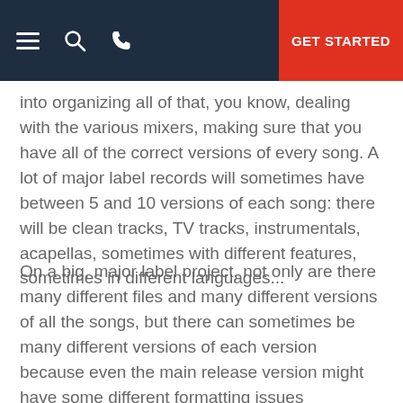[navigation bar with hamburger, search, phone icons and GET STARTED button]
lot of times modern albums are being made by four or five different people. There's
into organizing all of that, you know, dealing with the various mixers, making sure that you have all of the correct versions of every song. A lot of major label records will sometimes have between 5 and 10 versions of each song: there will be clean tracks, TV tracks, instrumentals, acapellas, sometimes with different features, sometimes in different languages...
On a big, major label project, not only are there many different files and many different versions of all the songs, but there can sometimes be many different versions of each version because even the main release version might have some different formatting issues depending on the release channel that's going through. So it's a lot of administrative,